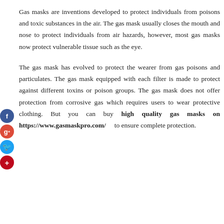Gas masks are inventions developed to protect individuals from poisons and toxic substances in the air. The gas mask usually closes the mouth and nose to protect individuals from air hazards, however, most gas masks now protect vulnerable tissue such as the eye.
The gas mask has evolved to protect the wearer from gas poisons and particulates. The gas mask equipped with each filter is made to protect against different toxins or poison groups. The gas mask does not offer protection from corrosive gas which requires users to wear protective clothing. But you can buy high quality gas masks on https://www.gasmaskpro.com/ to ensure complete protection.